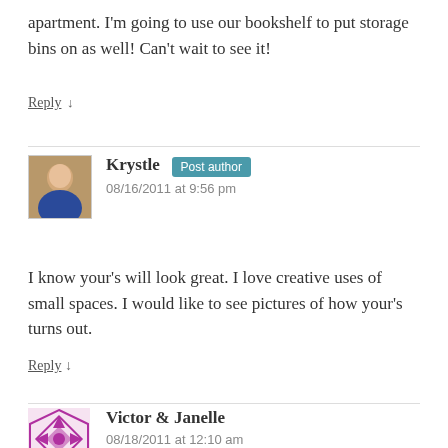apartment. I'm going to use our bookshelf to put storage bins on as well! Can't wait to see it!
Reply ↓
Krystle Post author
08/16/2011 at 9:56 pm
I know your's will look great. I love creative uses of small spaces. I would like to see pictures of how your's turns out.
Reply ↓
Victor & Janelle
08/18/2011 at 12:10 am